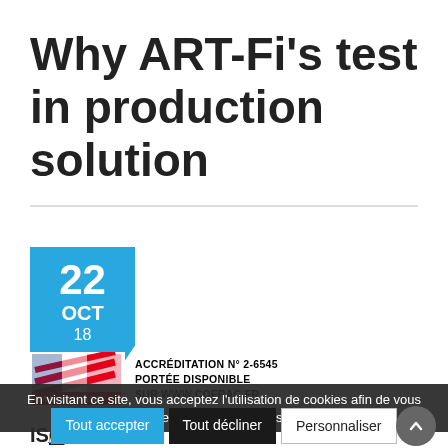Why ART-Fi's test in production solution
[Figure (other): Blue date badge showing 22 OCT 18, with a notched bottom-right corner]
[Figure (logo): COFRAC Etalonnage logo with French flag motif and text: ACCREDITATION N° 2-6545 PORTÉE DISPONIBLE SUR WWW.COFRAC.FR]
En visitant ce site, vous acceptez l'utilisation de cookies afin de vous proposer les meilleurs services possibles.
Newsroom ART-Fi
Tout accepter
Tout décliner
Personnaliser
ISO